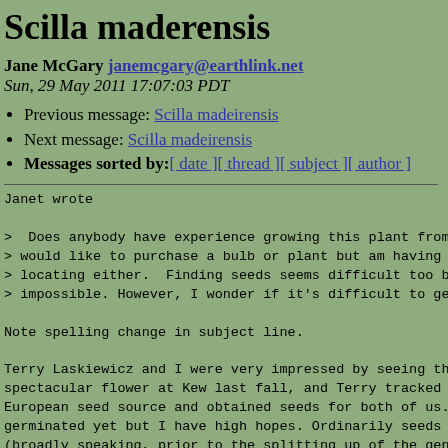Scilla maderensis
Jane McGary janemcgary@earthlink.net
Sun, 29 May 2011 17:07:03 PDT
Previous message: Scilla madeirensis
Next message: Scilla madeirensis
Messages sorted by: [ date ][ thread ][ subject ][ author ]
Janet wrote

>  Does anybody have experience growing this plant from se
> would like to purchase a bulb or plant but am having no
> locating either.  Finding seeds seems difficult too but
> impossible. However, I wonder if it's difficult to get t

Note spelling change in subject line.

Terry Laskiewicz and I were very impressed by seeing this
spectacular flower at Kew last fall, and Terry tracked dow
European seed source and obtained seeds for both of us. Mi
germinated yet but I have high hopes. Ordinarily seeds of
(broadly speaking, prior to the splitting up of the genus
germinate well, and I have grown many species without a p